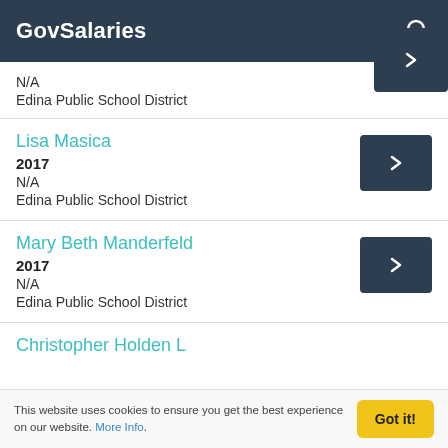GovSalaries
N/A
Edina Public School District
Lisa Masica
2017
N/A
Edina Public School District
Mary Beth Manderfeld
2017
N/A
Edina Public School District
Christopher Holden L...
This website uses cookies to ensure you get the best experience on our website. More Info.